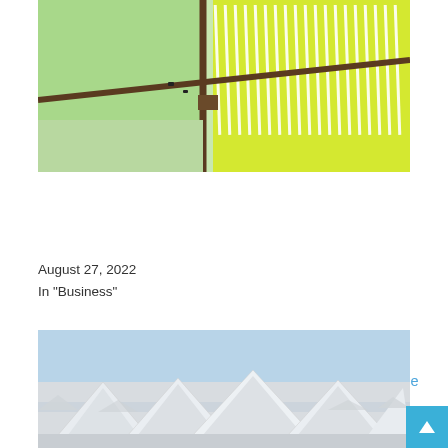[Figure (photo): Aerial view of lithium evaporation ponds with green and yellow-green colored pools divided by dark earthen berms, with white mineral deposits visible as striped patterns on the surface.]
Lithium industry experts doubt Mexico can extract the mineral without private expertise
August 27, 2022
In "Business"
[Figure (photo): Ground-level view of white pyramid-shaped salt or lithium mineral mounds on a flat salt flat or evaporation surface, with sky in background.]